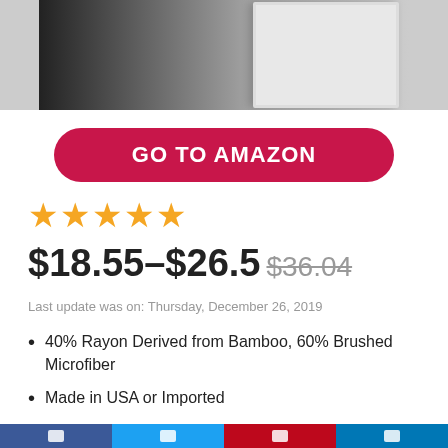[Figure (photo): Product photo of white bath towels/robe on dark background]
GO TO AMAZON
[Figure (other): 4 orange star rating icons]
$18.55–$26.5 $36.04
Last update was on: Thursday, December 26, 2019
40% Rayon Derived from Bamboo, 60% Brushed Microfiber
Made in USA or Imported